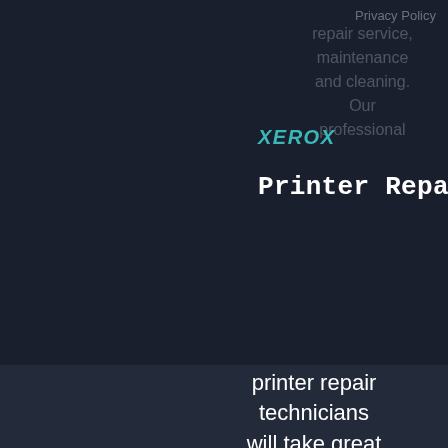Privacy Policy
Service
repair service, maintenance and cleaning. Our professional
[Figure (logo): Xerox Printer Repair logo with teal XEROX text above white 'Printer Repair' text in monospace font, with a small 3D printer icon to the right]
printer repair technicians will take great care of all your business printing needs.

Contact us for a free quote or to